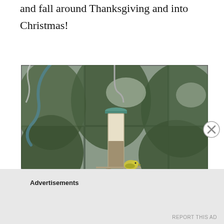and fall around Thanksgiving and into Christmas!
[Figure (photo): Photo of a bird feeder hanging outside a window, with green trees in the background and a small yellow-green bird perched at the bottom of the feeder. The window has multiple panes visible. Snow or frost is visible on an ornamental metal hook on the left side.]
Advertisements
REPORT THIS AD